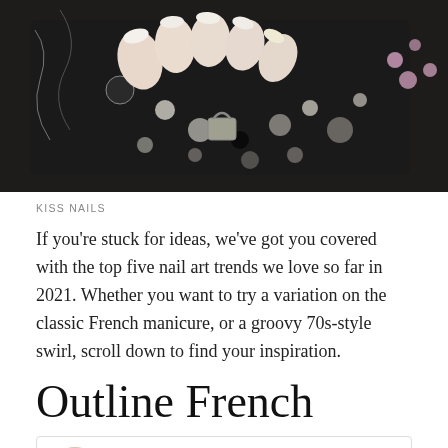[Figure (photo): Close-up photo of hands with white/nude oval nails resting on a black studded handbag with a padlock clasp, with pink flowers in the background]
KISS NAILS
If you're stuck for ideas, we've got you covered with the top five nail art trends we love so far in 2021. Whether you want to try a variation on the classic French manicure, or a groovy 70s-style swirl, scroll down to find your inspiration.
Outline French
nailartbyqueenie
Los Angeles, California
View profile